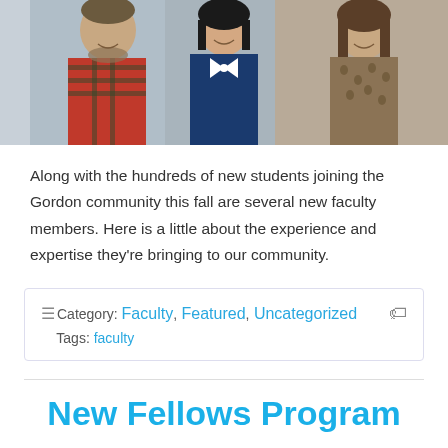[Figure (photo): Three people (two women and one man) posing together for a photo. Left: man with beard wearing red plaid shirt with arms crossed. Center: woman in navy blue top with bow tie. Right: woman in brown patterned sleeveless dress.]
Along with the hundreds of new students joining the Gordon community this fall are several new faculty members. Here is a little about the experience and expertise they're bringing to our community.
Category: Faculty, Featured, Uncategorized   Tags: faculty
New Fellows Program